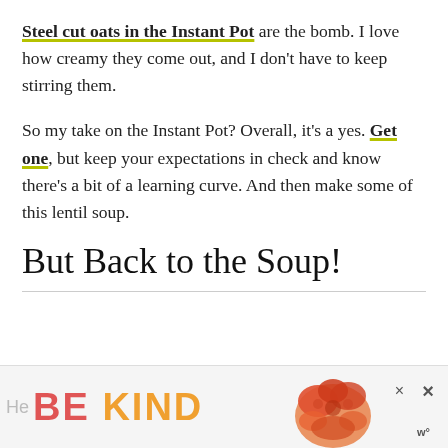Steel cut oats in the Instant Pot are the bomb. I love how creamy they come out, and I don't have to keep stirring them.
So my take on the Instant Pot? Overall, it's a yes. Get one, but keep your expectations in check and know there's a bit of a learning curve. And then make some of this lentil soup.
But Back to the Soup!
[Figure (other): Advertisement banner with 'BE KIND' text in colorful letters and a decorative red floral illustration, with close buttons]